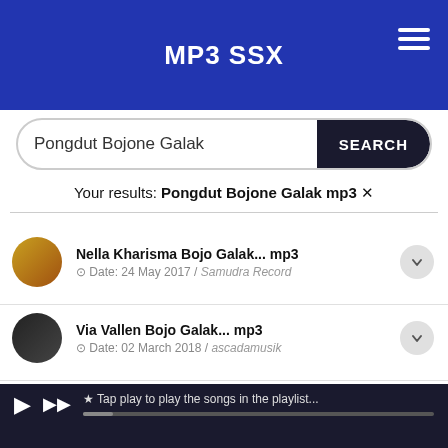MP3 SSX
Pongdut Bojone Galak
Your results: Pongdut Bojone Galak mp3 ✕
Nella Kharisma Bojo Galak... mp3
⊙ Date: 24 May 2017 / Samudra Record
Via Vallen Bojo Galak... mp3
⊙ Date: 02 March 2018 / ascadamusik
Nella Kharisma Bojo Galak Dangdut... mp3
⊙ Date: 26 November 2017 / DSA RECORD
IBU IBU CURHAT BOJONE GALAK... mp3
⊙ Date: 28 August 2018 / Teh Jahe
BOJONE GALAK AMBARWATI CS SEDAYU live karan...
⊙ Date: 07 December 2017 / Alireza Picture
★ Tap play to play the songs in the playlist...